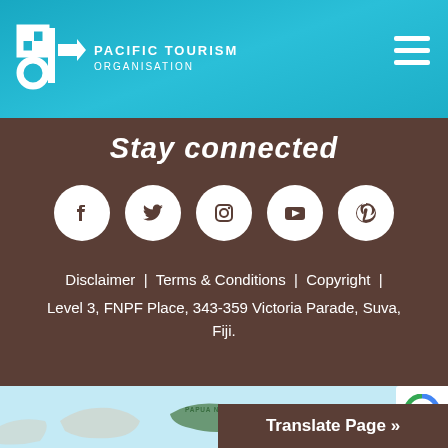[Figure (logo): SPTO Pacific Tourism Organisation logo — white geometric symbol on teal background with text PACIFIC TOURISM ORGANISATION]
Stay connected
[Figure (infographic): Five white circular social media icons: Facebook, Twitter, Instagram, YouTube, Pinterest on brown background]
Disclaimer  |  Terms & Conditions  |  Copyright  |
Level 3, FNPF Place, 343-359 Victoria Parade, Suva, Fiji.
[Figure (map): Pacific region map with light blue ocean and Papua New Guinea labeled in green]
Translate Page »